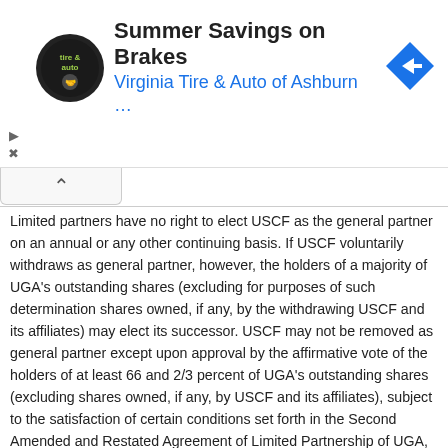[Figure (other): Advertisement banner for Virginia Tire & Auto of Ashburn featuring logo, title 'Summer Savings on Brakes', subtitle 'Virginia Tire & Auto of Ashburn ...', and a blue navigation arrow icon.]
Limited partners have no right to elect USCF as the general partner on an annual or any other continuing basis. If USCF voluntarily withdraws as general partner, however, the holders of a majority of UGA's outstanding shares (excluding for purposes of such determination shares owned, if any, by the withdrawing USCF and its affiliates) may elect its successor. USCF may not be removed as general partner except upon approval by the affirmative vote of the holders of at least 66 and 2/3 percent of UGA's outstanding shares (excluding shares owned, if any, by USCF and its affiliates), subject to the satisfaction of certain conditions set forth in the Second Amended and Restated Agreement of Limited Partnership of UGA, effective as of March 1, 2013 (as amended from time to time, the “LP Agreement”).
The business and affairs of USCF are managed by a board of directors (the “Board”), which is comprised of four management directors (the “Management Directors”), some of whom are also its executive officers,